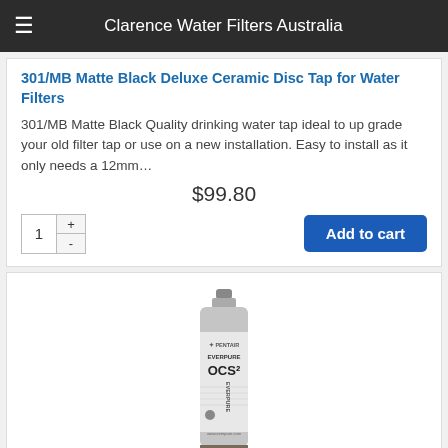Clarence Water Filters Australia
301/MB Matte Black Deluxe Ceramic Disc Tap for Water Filters
301/MB Matte Black Quality drinking water tap ideal to up grade your old filter tap or use on a new installation. Easy to install as it only needs a 12mm…
$99.80
[Figure (other): Quantity selector showing 1 with + and - buttons, and Add to cart button]
[Figure (photo): Everpure OCS2 EV9618-02 0.5 Micron water filter cartridge product photo showing a cylindrical silver/grey filter with PENTAIR EVERPURE OCS2 label and EVERPURE branding on the side.]
Everpure OCS2 EV9618-02 0.5 Micron